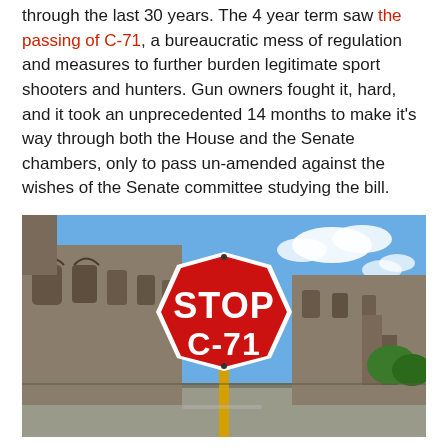through the last 30 years. The 4 year term saw the passing of C-71, a bureaucratic mess of regulation and measures to further burden legitimate sport shooters and hunters. Gun owners fought it, hard, and it took an unprecedented 14 months to make it's way through both the House and the Senate chambers, only to pass un-amended against the wishes of the Senate committee studying the bill.
[Figure (photo): A red octagonal stop sign reading 'STOP C-71' in white letters, mounted on a post in front of a Gothic stone building (Parliament Hill, Ottawa) with a blue sky and clouds in the background.]